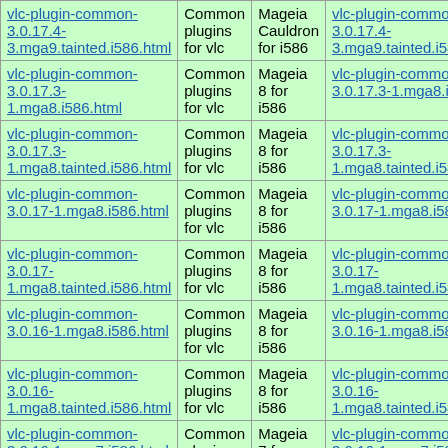| Package | Description | Distro | Source |
| --- | --- | --- | --- |
| vlc-plugin-common-3.0.17.4-3.mga9.tainted.i586.html | Common plugins for vlc | Mageia Cauldron for i586 | vlc-plugin-common-3.0.17.4-3.mga9.tainted.i586.h |
| vlc-plugin-common-3.0.17.3-1.mga8.i586.html | Common plugins for vlc | Mageia 8 for i586 | vlc-plugin-common-3.0.17.3-1.mga8.i586 |
| vlc-plugin-common-3.0.17.3-1.mga8.tainted.i586.html | Common plugins for vlc | Mageia 8 for i586 | vlc-plugin-common-3.0.17.3-1.mga8.tainted.i586. |
| vlc-plugin-common-3.0.17-1.mga8.i586.html | Common plugins for vlc | Mageia 8 for i586 | vlc-plugin-common-3.0.17-1.mga8.i586. |
| vlc-plugin-common-3.0.17-1.mga8.tainted.i586.html | Common plugins for vlc | Mageia 8 for i586 | vlc-plugin-common-3.0.17-1.mga8.tainted.i586. |
| vlc-plugin-common-3.0.16-1.mga8.i586.html | Common plugins for vlc | Mageia 8 for i586 | vlc-plugin-common-3.0.16-1.mga8.i586. |
| vlc-plugin-common-3.0.16-1.mga8.tainted.i586.html | Common plugins for vlc | Mageia 8 for i586 | vlc-plugin-common-3.0.16-1.mga8.tainted.i586. |
| vlc-plugin-common-3.0.16-1.mga7.i586.html | Common plugins for vlc | Mageia 7 for i586 | vlc-plugin-common-3.0.16-1.mga7.i586 |